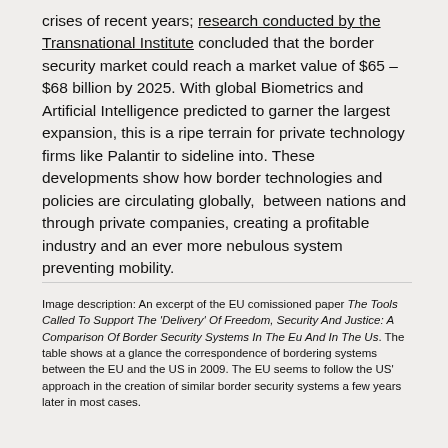crises of recent years; research conducted by the Transnational Institute concluded that the border security market could reach a market value of $65 – $68 billion by 2025. With global Biometrics and Artificial Intelligence predicted to garner the largest expansion, this is a ripe terrain for private technology firms like Palantir to sideline into. These developments show how border technologies and policies are circulating globally,  between nations and through private companies, creating a profitable industry and an ever more nebulous system preventing mobility.
Image description: An excerpt of the EU comissioned paper The Tools Called To Support The 'Delivery' Of Freedom, Security And Justice: A Comparison Of Border Security Systems In The Eu And In The Us. The table shows at a glance the correspondence of bordering systems between the EU and the US in 2009. The EU seems to follow the US' approach in the creation of similar border security systems a few years later in most cases.